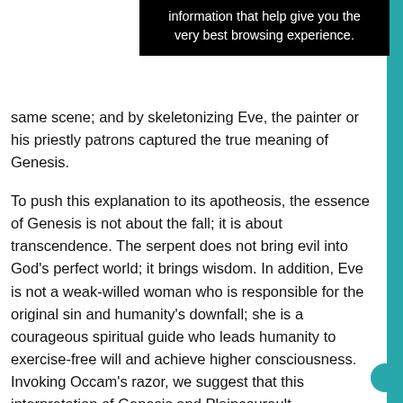information that help give you the very best browsing experience.
same scene; and by skeletonizing Eve, the painter or his priestly patrons captured the true meaning of Genesis.
To push this explanation to its apotheosis, the essence of Genesis is not about the fall; it is about transcendence. The serpent does not bring evil into God's perfect world; it brings wisdom. In addition, Eve is not a weak-willed woman who is responsible for the original sin and humanity's downfall; she is a courageous spiritual guide who leads humanity to exercise-free will and achieve higher consciousness. Invoking Occam's razor, we suggest that this interpretation of Genesis and Plaincourault parsimoniously resolves two biblical puzzles: the identification of the Tree and the presence